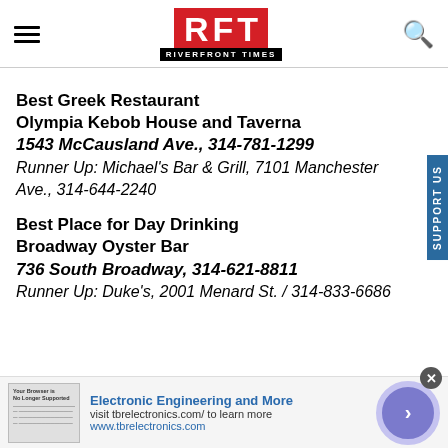RFT RIVERFRONT TIMES
Best Greek Restaurant
Olympia Kebob House and Taverna
1543 McCausland Ave., 314-781-1299
Runner Up: Michael's Bar & Grill, 7101 Manchester Ave., 314-644-2240
Best Place for Day Drinking
Broadway Oyster Bar
736 South Broadway, 314-621-8811
Runner Up: Duke's, 2001 Menard St. / 314-833-6686
[Figure (screenshot): Advertisement banner: Electronic Engineering and More, visit tbrelectronics.com/ to learn more, www.tbrelectronics.com]